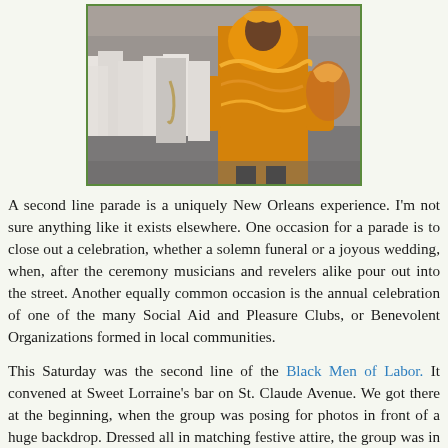[Figure (photo): A second line parade photo showing a man in an elaborate orange and gold festive costume in the foreground, with musicians and marchers in white shirts in the background.]
A second line parade is a uniquely New Orleans experience. I'm not sure anything like it exists elsewhere. One occasion for a parade is to close out a celebration, whether a solemn funeral or a joyous wedding, when, after the ceremony musicians and revelers alike pour out into the street. Another equally common occasion is the annual celebration of one of the many Social Aid and Pleasure Clubs, or Benevolent Organizations formed in local communities.
This Saturday was the second line of the Black Men of Labor. It convened at Sweet Lorraine's bar on St. Claude Avenue. We got there at the beginning, when the group was posing for photos in front of a huge backdrop. Dressed all in matching festive attire, the group was in fine form.